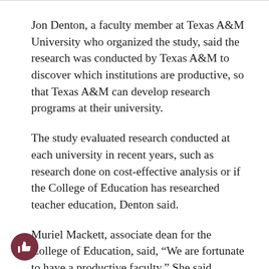Jon Denton, a faculty member at Texas A&M University who organized the study, said the research was conducted by Texas A&M to discover which institutions are productive, so that Texas A&M can develop research programs at their university.
The study evaluated research conducted at each university in recent years, such as research done on cost-effective analysis or if the College of Education has researched teacher education, Denton said.
Muriel Mackett, associate dean for the College of Education, said, “We are fortunate to have a productive faculty.” She said receiving recognition for being ranked in the top 15 is “remarkable.”